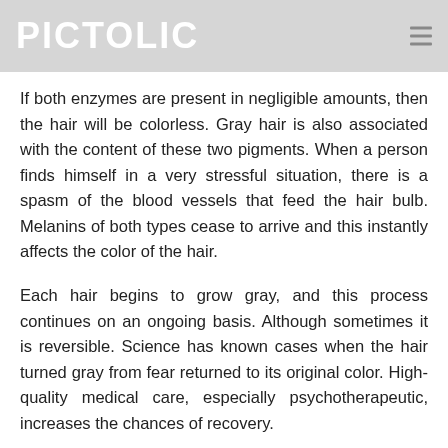PICTOLIC
If both enzymes are present in negligible amounts, then the hair will be colorless. Gray hair is also associated with the content of these two pigments. When a person finds himself in a very stressful situation, there is a spasm of the blood vessels that feed the hair bulb. Melanins of both types cease to arrive and this instantly affects the color of the hair.
Each hair begins to grow gray, and this process continues on an ongoing basis. Although sometimes it is reversible. Science has known cases when the hair turned gray from fear returned to its original color. High-quality medical care, especially psychotherapeutic, increases the chances of recovery.
But they turn gray early not only from fear and hard life, gray hair is inherited and if parents began to turn gray at a young